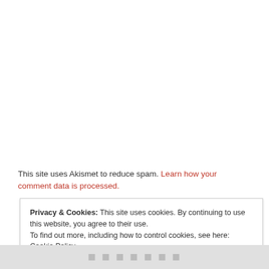This site uses Akismet to reduce spam. Learn how your comment data is processed.
Privacy & Cookies: This site uses cookies. By continuing to use this website, you agree to their use. To find out more, including how to control cookies, see here: Cookie Policy
Close and accept